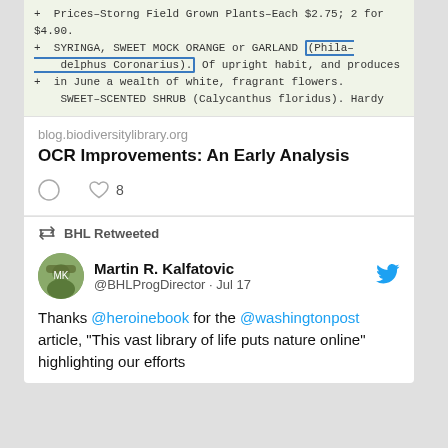[Figure (screenshot): Screenshot of an OCR text snippet from a plant catalog showing entries for SYRINGA, SWEET MOCK ORANGE or GARLAND (Philadelphus Coronarius) and SWEET-SCENTED SHRUB, with highlighted text boxes around the plant name.]
blog.biodiversitylibrary.org
OCR Improvements: An Early Analysis
[Figure (infographic): Tweet interaction icons: comment bubble and heart with count 8]
BHL Retweeted
Martin R. Kalfatovic @BHLProgDirector · Jul 17
Thanks @heroinebook for the @washingtonpost article, "This vast library of life puts nature online" highlighting our efforts